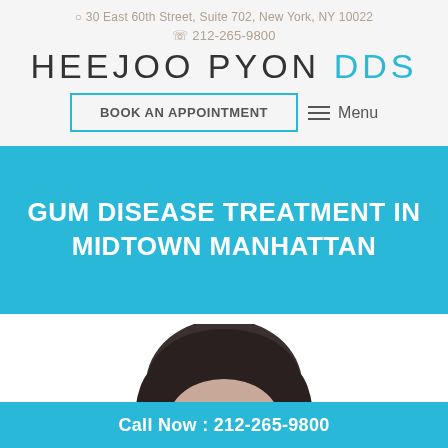30 East 60th Street, Suite 702, New York, NY 10022
212-265-9800
HEEJOO PYON DDS
BOOK AN APPOINTMENT
Menu
GUM DISEASE TREATMENT IN MIDTOWN MANHATTAN
[Figure (photo): Partial photo of a woman's face, shown from approximately the top of the head down to mid-face, in black and white/grayscale.]
Call Now : 212-265-9800